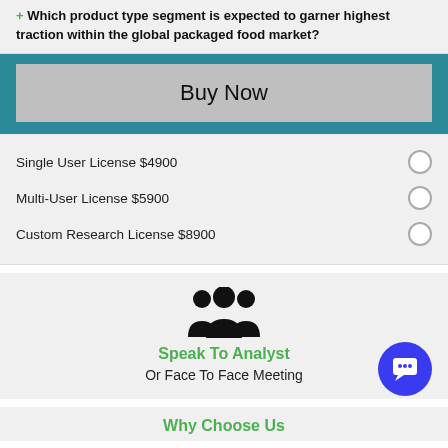+ Which product type segment is expected to garner highest traction within the global packaged food market?
Buy Now
Single User License $4900
Multi-User License $5900
Custom Research License $8900
[Figure (illustration): Three people silhouette icons representing analyst team]
Speak To Analyst
Or Face To Face Meeting
Why Choose Us